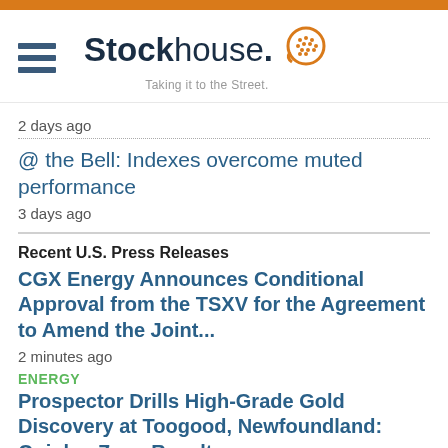Stockhouse - Taking it to the Street.
2 days ago
@ the Bell: Indexes overcome muted performance
3 days ago
Recent U.S. Press Releases
CGX Energy Announces Conditional Approval from the TSXV for the Agreement to Amend the Joint...
2 minutes ago
ENERGY
Prospector Drills High-Grade Gold Discovery at Toogood, Newfoundland: Quinlan Zone Results...
43 minutes ago
INDUSTRIAL METALS & MINERALS